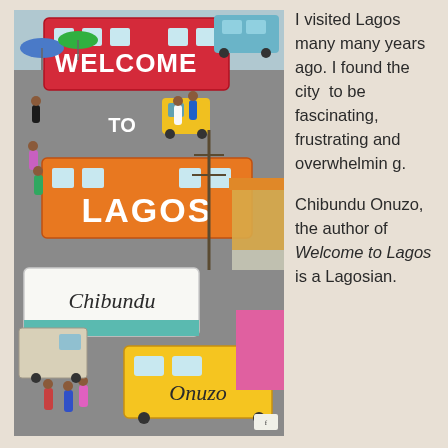[Figure (illustration): Book cover of 'Welcome to Lagos' by Chibundu Onuzo. Illustrated aerial view of a busy Lagos street scene with colourful buses (red, orange, yellow, teal), market stalls, umbrellas and crowds of people. The title 'WELCOME TO LAGOS' is displayed across buses, and the author's name 'Chibundu Onuzo' is written on a white bus. A Faber & Faber logo appears at the bottom right.]
I visited Lagos many many years ago. I found the city to be fascinating, frustrating and overwhelming. Chibundu Onuzo, the author of Welcome to Lagos is a Lagosian.